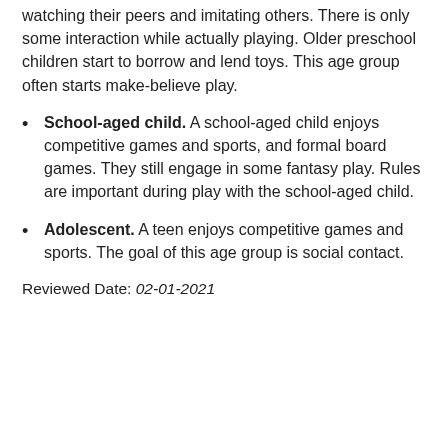watching their peers and imitating others. There is only some interaction while actually playing. Older preschool children start to borrow and lend toys. This age group often starts make-believe play.
School-aged child. A school-aged child enjoys competitive games and sports, and formal board games. They still engage in some fantasy play. Rules are important during play with the school-aged child.
Adolescent. A teen enjoys competitive games and sports. The goal of this age group is social contact.
Reviewed Date: 02-01-2021